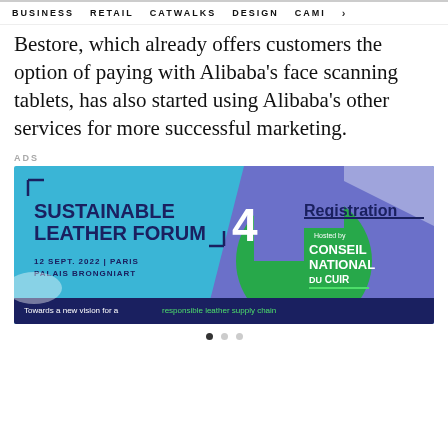BUSINESS   RETAIL   CATWALKS   DESIGN   CAMI >
Bestore, which already offers customers the option of paying with Alibaba's face scanning tablets, has also started using Alibaba's other services for more successful marketing.
ADS
[Figure (illustration): Advertisement banner for Sustainable Leather Forum 4. Teal/blue background with dark blue and green geometric shapes. Text reads: SUSTAINABLE LEATHER FORUM 4, 12 SEPT. 2022 | PARIS PALAIS BRONGNIART, Registration, Hosted by CONSEIL NATIONAL DU CUIR, Towards a new vision for a responsible leather supply chain.]